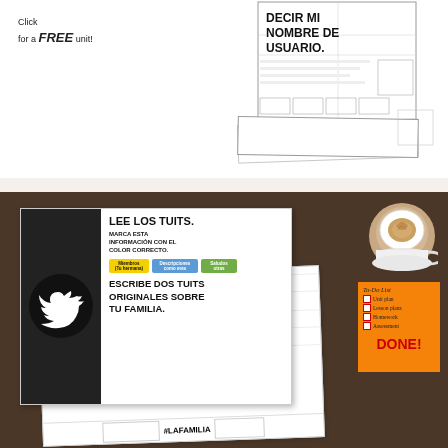Click for a FREE unit!
[Figure (illustration): Worksheet mockups showing Spanish Twitter/social media activity pages with text 'DECIR MI NOMBRE DE USUARIO']
[Figure (illustration): Spanish language learning worksheet with Twitter theme showing: Twitter bird logo, 'LEE LOS TUITS. MARCA ESTA INFORMACIÓN CON EL COLOR CORRECTO.' with colored tags for Miembros/Tu hermana, Descripciones/como eres, Saludos/otras. Then 'ESCRIBE DOS TUITS ORIGINALES SOBRE TU FAMILIA.' overlaid on wooden desk background with coffee cup and orange sticky note reading To-Do List: Unit plan, Lesson plans, Homework, Assessment - DONE! and Twitter feed worksheet with #LAFAMILIA]
LEE LOS TUITS. MARCA ESTA INFORMACIÓN CON EL COLOR CORRECTO.
ESCRIBE DOS TUITS ORIGINALES SOBRE TU FAMILIA.
#LAFAMILIA